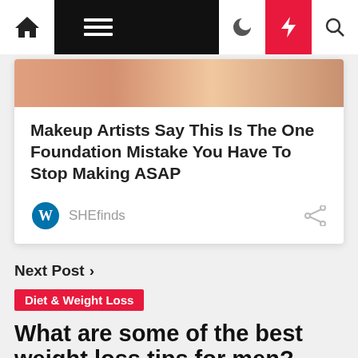Navigation bar with home, menu, dark mode, lightning/flash, and search icons
[Figure (photo): Cropped photo of a face/makeup, warm skin tones]
Makeup Artists Say This Is The One Foundation Mistake You Have To Stop Making ASAP
SHEfinds
Next Post >
Diet & Weight Loss
What are some of the best weight loss tips for men?